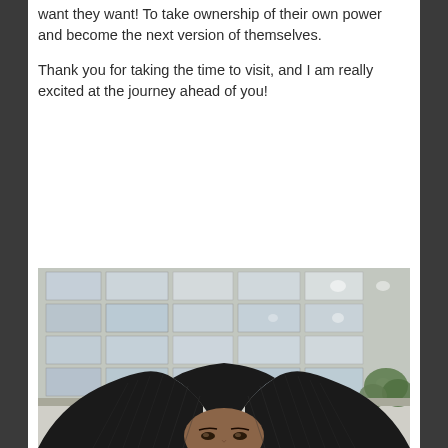want they want! To take ownership of their own power and become the next version of themselves.

Thank you for taking the time to visit, and I am really excited at the journey ahead of you!
[Figure (photo): A selfie photo of a Black woman with long braided hair, taken outdoors in front of a modern glass office building. The photo is taken from a low angle showing mostly the top of her head and her eyes looking slightly downward. Green trees are visible to the right side of the building.]